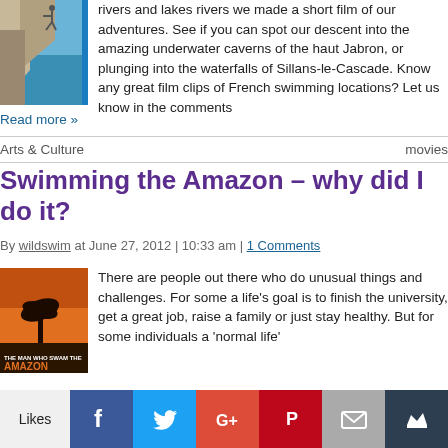[Figure (photo): Person jumping from rocky cliff into water, blue sky and lake in background]
rivers and lakes rivers we made a short film of our adventures. See if you can spot our descent into the amazing underwater caverns of the haut Jabron, or plunging into the waterfalls of Sillans-le-Cascade. Know any great film clips of French swimming locations? Let us know in the comments
Read more »
Arts & Culture
movies
Swimming the Amazon – why did I do it?
By wildswim at June 27, 2012 | 10:33 am | 1 Comments
[Figure (photo): Book cover: 'The Man Who Swam the Amazon' with orange sunset and palm tree silhouette]
There are people out there who do unusual things and challenges. For some a life's goal is to finish the university, get a great job, raise a family or just stay healthy. But for some individuals a 'normal life'
Likes | Facebook | Twitter | Google+ | Pinterest | Email | Crown